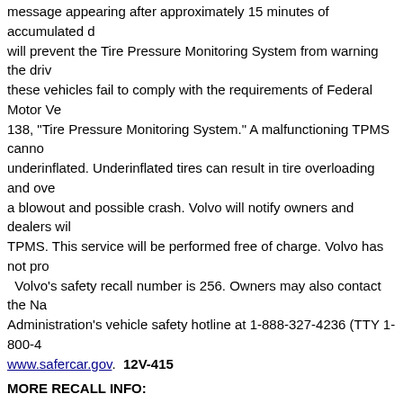message appearing after approximately 15 minutes of accumulated d... will prevent the Tire Pressure Monitoring System from warning the dri... these vehicles fail to comply with the requirements of Federal Motor Ve... 138, "Tire Pressure Monitoring System." A malfunctioning TPMS canno... underinflated. Underinflated tires can result in tire overloading and ove... a blowout and possible crash. Volvo will notify owners and dealers wil... TPMS. This service will be performed free of charge. Volvo has not pr... . Volvo's safety recall number is 256. Owners may also contact the Na... Administration's vehicle safety hotline at 1-888-327-4236 (TTY 1-800-4... www.safercar.gov. 12V-415
MORE RECALL INFO:
Volvo S80
Volvo XC70
NEWS: Volvo is recalling certain model year 2011-2...
JULY 2012 -- Volvo is recalling certain model year 2011-2013 S80 ve... prevent the transmission from downshifting such as shifting from fifth t... This may result in decreased engine rpms and possible engine stall, i... Volvo will notify owners, and dealers will upgrade the software to the tr... free of charge. The safety recall is expected to begin on, or about, july... campaign number is 255. Customers may contact the national highway... vehicle safety hotline at 1-888-327-4236 (tty: 1-800-424-9153); or go t... 12V-317